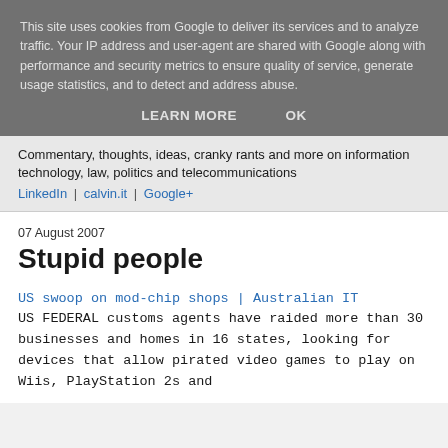This site uses cookies from Google to deliver its services and to analyze traffic. Your IP address and user-agent are shared with Google along with performance and security metrics to ensure quality of service, generate usage statistics, and to detect and address abuse.
LEARN MORE   OK
Commentary, thoughts, ideas, cranky rants and more on information technology, law, politics and telecommunications LinkedIn | calvin.it | Google+
07 August 2007
Stupid people
US swoop on mod-chip shops | Australian IT
US FEDERAL customs agents have raided more than 30 businesses and homes in 16 states, looking for devices that allow pirated video games to play on Wiis, PlayStation 2s and